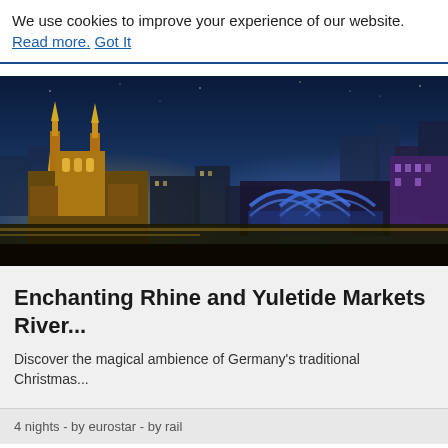We use cookies to improve your experience of our website. Read more. Got It
[Figure (photo): Aerial night view of a European city with a large cathedral (Cologne Cathedral) on the left illuminated in golden light, a railway station with glowing blue arched roof in the center-right, and a sprawling cityscape under a deep blue twilight sky.]
Enchanting Rhine and Yuletide Markets River...
Discover the magical ambience of Germany's traditional Christmas...
From £689pp
4 nights - by eurostar - by rail